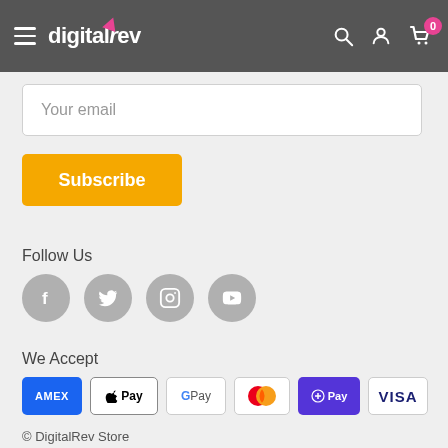[Figure (screenshot): DigitalRev website header with hamburger menu, logo, search icon, user icon, and cart icon with badge showing 0]
Your email
Subscribe
Follow Us
[Figure (illustration): Four social media icons: Facebook, Twitter, Instagram, YouTube]
We Accept
[Figure (illustration): Payment method logos: AMEX, Apple Pay, Google Pay, Mastercard, Shop Pay, Visa]
© DigitalRev Store